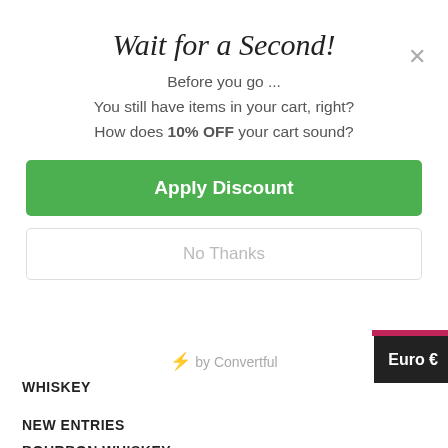Wait for a Second!
Before you go ...
You still have items in your cart, right?
How does 10% OFF your cart sound?
Apply Discount
No Thanks
⚡ by Convertful
Euro €
WHISKEY
NEW ENTRIES
BOURBON WHISKEY
AMERICAN WHISKEY